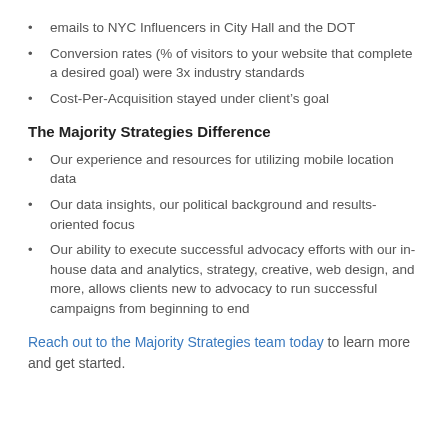emails to NYC Influencers in City Hall and the DOT
Conversion rates (% of visitors to your website that complete a desired goal) were 3x industry standards
Cost-Per-Acquisition stayed under client's goal
The Majority Strategies Difference
Our experience and resources for utilizing mobile location data
Our data insights, our political background and results-oriented focus
Our ability to execute successful advocacy efforts with our in-house data and analytics, strategy, creative, web design, and more, allows clients new to advocacy to run successful campaigns from beginning to end
Reach out to the Majority Strategies team today to learn more and get started.